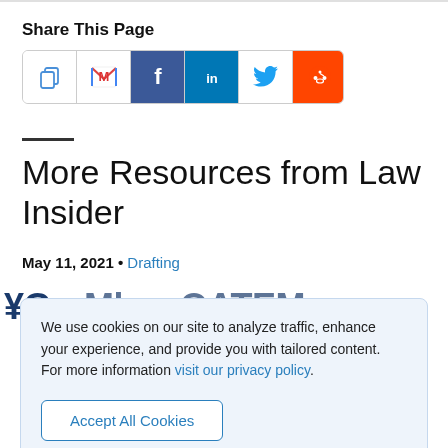Share This Page
[Figure (other): Row of social share icon buttons: Copy, Gmail (M), Facebook (f), LinkedIn (in), Twitter (bird), Reddit (alien) — inside a rounded-corner bordered container]
More Resources from Law Insider
May 11, 2021 • Drafting
We use cookies on our site to analyze traffic, enhance your experience, and provide you with tailored content.
For more information visit our privacy policy.
Accept All Cookies